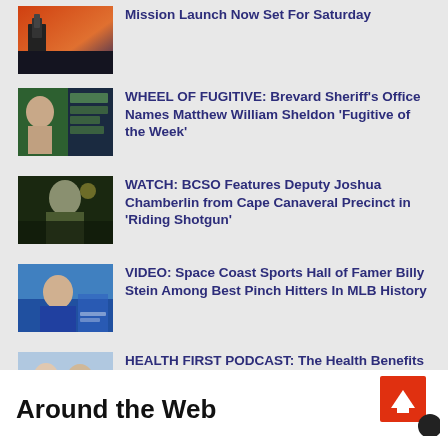Mission Launch Now Set For Saturday
WHEEL OF FUGITIVE: Brevard Sheriff’s Office Names Matthew William Sheldon ‘Fugitive of the Week’
WATCH: BCSO Features Deputy Joshua Chamberlin from Cape Canaveral Precinct in ‘Riding Shotgun’
VIDEO: Space Coast Sports Hall of Famer Billy Stein Among Best Pinch Hitters In MLB History
HEALTH FIRST PODCAST: The Health Benefits of Weight-Loss Surgery With Dr. Kenneth Tieu and Dr. Nathan Allison
Around the Web